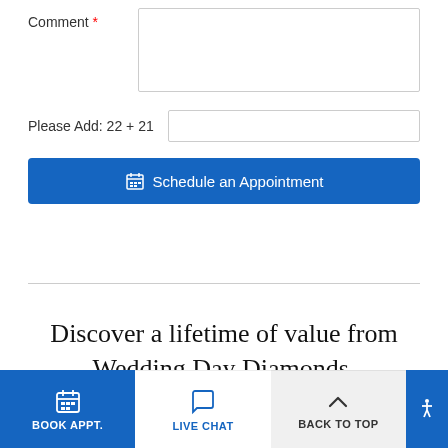Comment *
Please Add: 22 + 21
Schedule an Appointment
Discover a lifetime of value from Wedding Day Diamonds.
BOOK APPT.
LIVE CHAT
BACK TO TOP